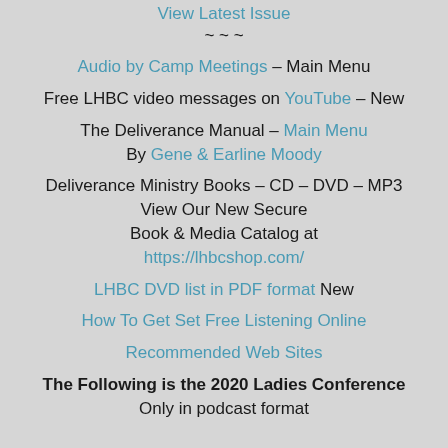View Latest Issue
~ ~ ~
Audio by Camp Meetings – Main Menu
Free LHBC video messages on YouTube – New
The Deliverance Manual – Main Menu
By Gene & Earline Moody
Deliverance Ministry Books – CD – DVD – MP3
View Our New Secure
Book & Media Catalog at
https://lhbcshop.com/
LHBC DVD list in PDF format New
How To Get Set Free Listening Online
Recommended Web Sites
The Following is the 2020 Ladies Conference
Only in podcast format